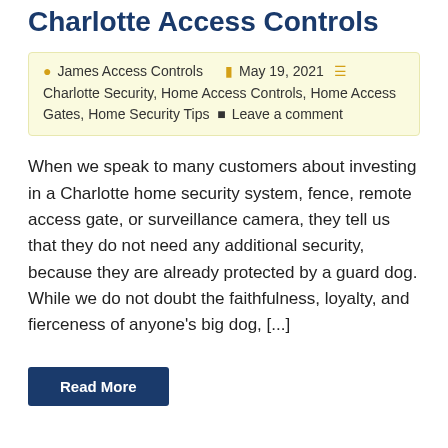Charlotte Access Controls
James Access Controls  May 19, 2021  Charlotte Security, Home Access Controls, Home Access Gates, Home Security Tips  Leave a comment
When we speak to many customers about investing in a Charlotte home security system, fence, remote access gate, or surveillance camera, they tell us that they do not need any additional security, because they are already protected by a guard dog. While we do not doubt the faithfulness, loyalty, and fierceness of anyone's big dog, [...]
Read More